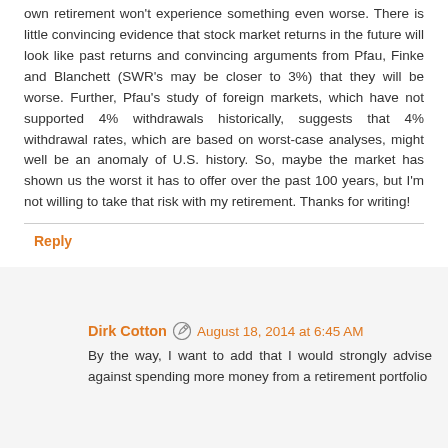own retirement won't experience something even worse. There is little convincing evidence that stock market returns in the future will look like past returns and convincing arguments from Pfau, Finke and Blanchett (SWR's may be closer to 3%) that they will be worse. Further, Pfau's study of foreign markets, which have not supported 4% withdrawals historically, suggests that 4% withdrawal rates, which are based on worst-case analyses, might well be an anomaly of U.S. history. So, maybe the market has shown us the worst it has to offer over the past 100 years, but I'm not willing to take that risk with my retirement. Thanks for writing!
Reply
Dirk Cotton  August 18, 2014 at 6:45 AM
By the way, I want to add that I would strongly advise against spending more money from a retirement portfolio after a market downturn based on a belief that the market...